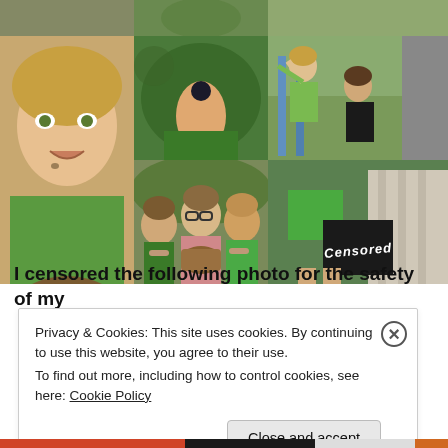[Figure (photo): Photo collage of children playing outdoors in green shirts, close-up faces with dirt, hands with berry, children climbing, group photo, and a censored photo]
I censored the following photo for the safety of my
Privacy & Cookies: This site uses cookies. By continuing to use this website, you agree to their use.
To find out more, including how to control cookies, see here: Cookie Policy